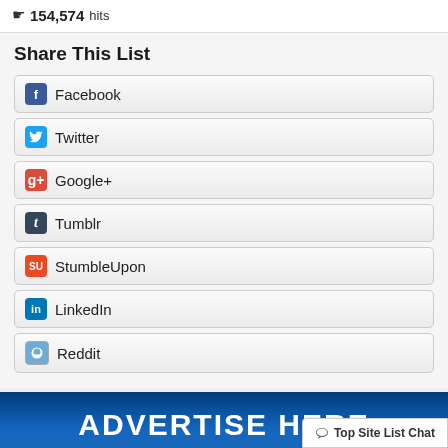154,574 hits
Share This List
Facebook
Twitter
Google+
Tumblr
StumbleUpon
LinkedIn
Reddit
[Figure (infographic): Advertise Here banner with dark blue gradient background and white bold text]
Top Site List Chat